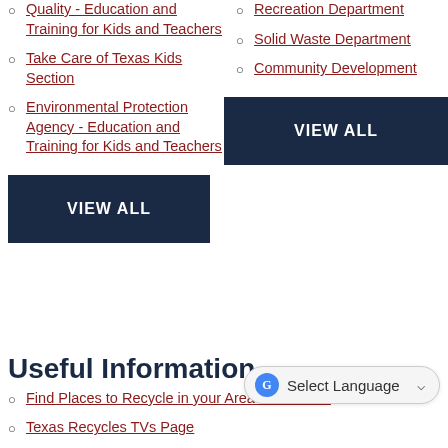Quality - Education and Training for Kids and Teachers
Take Care of Texas Kids Section
Environmental Protection Agency - Education and Training for Kids and Teachers
Recreation Department
Solid Waste Department
Community Development
VIEW ALL
VIEW ALL
Useful Information
Find Places to Recycle in your Area - Earth 311
Texas Recycles TVs Page